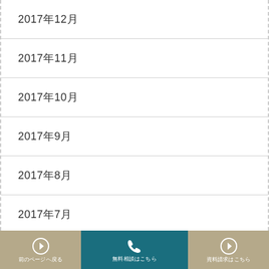2017年12月
2017年11月
2017年10月
2017年9月
2017年8月
2017年7月
2017年6月
2017年5月
2017年4月
前のページへ　　無料相談はこちら　　資料請求はこちら